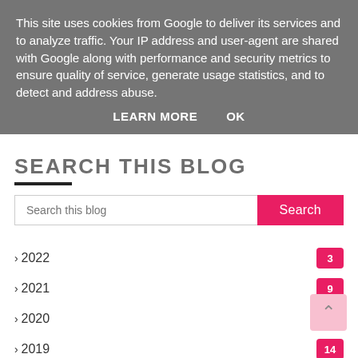This site uses cookies from Google to deliver its services and to analyze traffic. Your IP address and user-agent are shared with Google along with performance and security metrics to ensure quality of service, generate usage statistics, and to detect and address abuse.
LEARN MORE    OK
SEARCH THIS BLOG
Search this blog [Search button]
2022  3
2021  9
2020  17
2019  14
2018  9
2017  19
2016  6